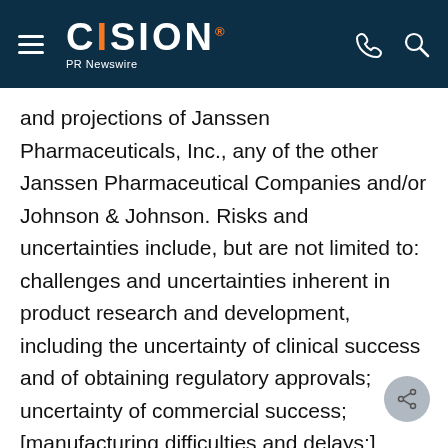CISION PR Newswire
and projections of Janssen Pharmaceuticals, Inc., any of the other Janssen Pharmaceutical Companies and/or Johnson & Johnson. Risks and uncertainties include, but are not limited to: challenges and uncertainties inherent in product research and development, including the uncertainty of clinical success and of obtaining regulatory approvals; uncertainty of commercial success; [manufacturing difficulties and delays;] competition, including technological advances, new products and patents attained by competitors; challenges to patents; [product efficacy or safety concerns resulting in product recalls or regulatory action;] changes in behavior and spending patterns of purchasers of